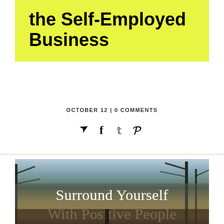the Self-Employed Business
OCTOBER 12 | 0 COMMENTS
[Figure (photo): Outdoor nature photo with trees and sky, with a semi-transparent gray overlay band containing text 'Surround Yourself With Positive People']
Surround Yourself With Positive People